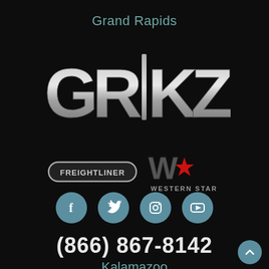Grand Rapids
[Figure (logo): GR|KZ logo with Freightliner and Western Star brand logos below]
[Figure (infographic): Social media icons: Facebook, Twitter, Instagram, YouTube]
(866) 867-8142
Kalamazoo